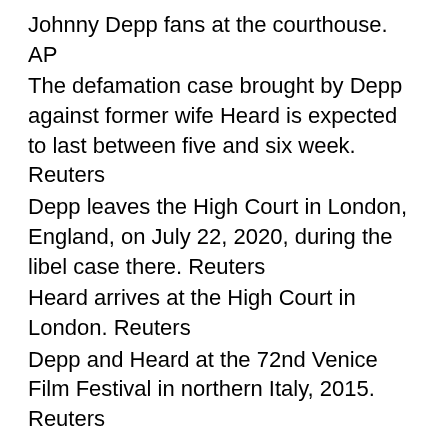Johnny Depp fans at the courthouse. AP
The defamation case brought by Depp against former wife Heard is expected to last between five and six week. Reuters
Depp leaves the High Court in London, England, on July 22, 2020, during the libel case there. Reuters
Heard arrives at the High Court in London. Reuters
Depp and Heard at the 72nd Venice Film Festival in northern Italy, 2015. Reuters
Source: www.thenationalnews.com/world/us-news/2022/04/25/johnny-depp-takes-stand-for-fourth-day-in-libel-trial-against-amber-heard//